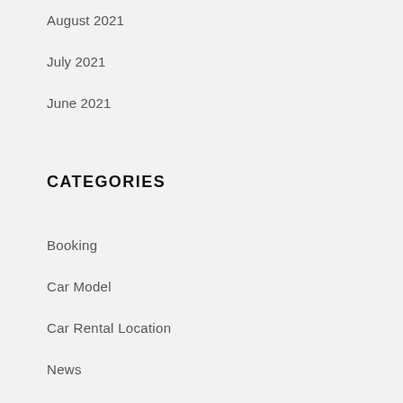August 2021
July 2021
June 2021
CATEGORIES
Booking
Car Model
Car Rental Location
News
META
Log in